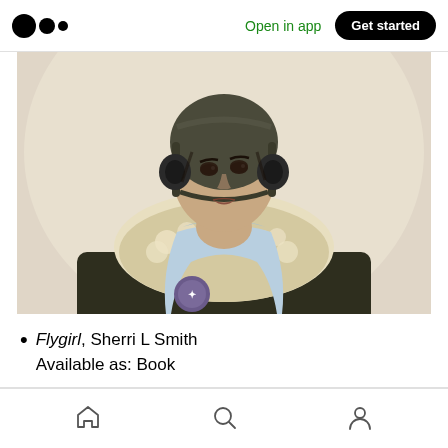Open in app | Get started
[Figure (photo): A young woman wearing a pilot's leather helmet with headphones, a sheepskin-lined aviator jacket, and a light blue scarf draped around her neck, looking upward against a light background.]
Flygirl, Sherri L Smith
Available as: Book
Home | Search | Profile